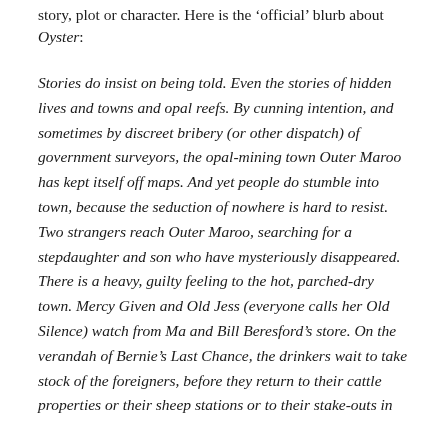story, plot or character. Here is the 'official' blurb about Oyster:
Stories do insist on being told. Even the stories of hidden lives and towns and opal reefs. By cunning intention, and sometimes by discreet bribery (or other dispatch) of government surveyors, the opal-mining town Outer Maroo has kept itself off maps. And yet people do stumble into town, because the seduction of nowhere is hard to resist. Two strangers reach Outer Maroo, searching for a stepdaughter and son who have mysteriously disappeared. There is a heavy, guilty feeling to the hot, parched-dry town. Mercy Given and Old Jess (everyone calls her Old Silence) watch from Ma and Bill Beresford's store. On the verandah of Bernie's Last Chance, the drinkers wait to take stock of the foreigners, before they return to their cattle properties or their sheep stations or to their stake-outs in